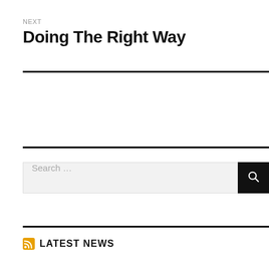NEXT
Doing The Right Way
[Figure (other): Horizontal search bar with text 'Search ...' and a black search button with magnifying glass icon]
LATEST NEWS
(partial link text visible at bottom)